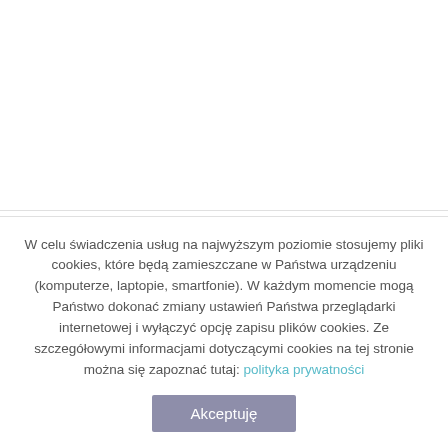W celu świadczenia usług na najwyższym poziomie stosujemy pliki cookies, które będą zamieszczane w Państwa urządzeniu (komputerze, laptopie, smartfonie). W każdym momencie mogą Państwo dokonać zmiany ustawień Państwa przeglądarki internetowej i wyłączyć opcję zapisu plików cookies. Ze szczegółowymi informacjami dotyczącymi cookies na tej stronie można się zapoznać tutaj: polityka prywatności